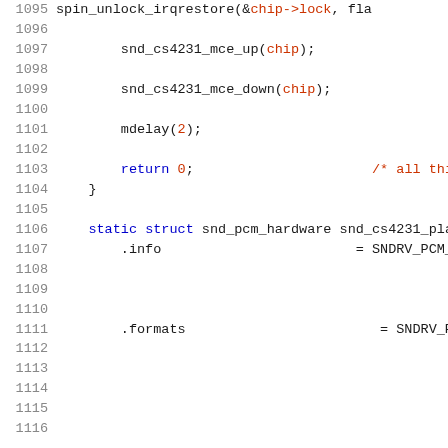[Figure (screenshot): Source code snippet showing C code lines 1095-1116, including function calls snd_cs4231_mce_up, snd_cs4231_mce_down, mdelay, return 0, closing brace, and struct definition snd_pcm_hardware with .info and .formats fields initialized with SNDRV_PCM_INF and SNDRV_PCM_FMT macros]